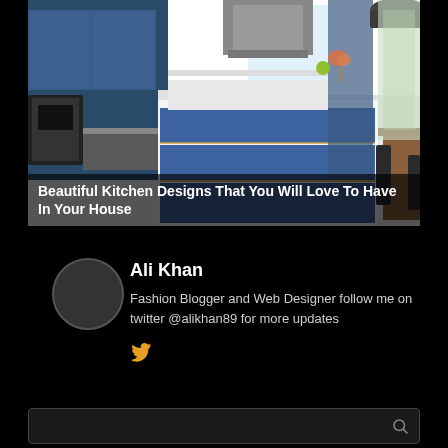[Figure (photo): A modern kitchen with blue cabinetry and white island, open plan design with skylights and dining area visible]
Beautiful Kitchen Designs That You Will Love To Have In Your House
Ali Khan
Fashion Blogger and Web Designer follow me on twitter @alikhan89 for more updates